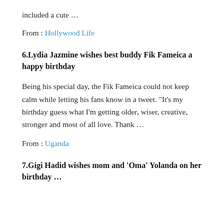included a cute …
From : Hollywood Life
6.Lydia Jazmine wishes best buddy Fik Fameica a happy birthday
Being his special day, the Fik Fameica could not keep calm while letting his fans know in a tweet. "It's my birthday guess what I'm getting older, wiser, creative, stronger and most of all love. Thank …
From : Uganda
7.Gigi Hadid wishes mom and 'Oma' Yolanda on her birthday …